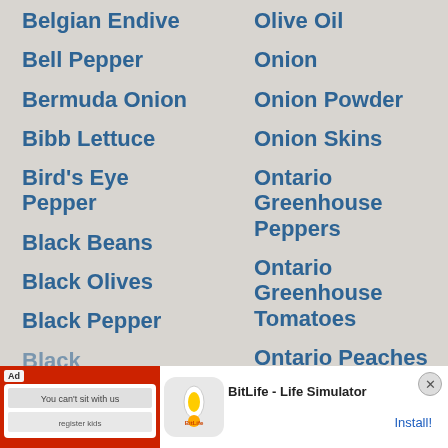Belgian Endive
Olive Oil
Bell Pepper
Onion
Bermuda Onion
Onion Powder
Bibb Lettuce
Onion Skins
Bird's Eye Pepper
Ontario Greenhouse Peppers
Black Beans
Ontario Greenhouse Tomatoes
Black Olives
Ontario Peaches
Black Pepper
Black Peppercorns
Black (partially visible)
[Figure (screenshot): Ad banner for BitLife - Life Simulator app with red background and install button]